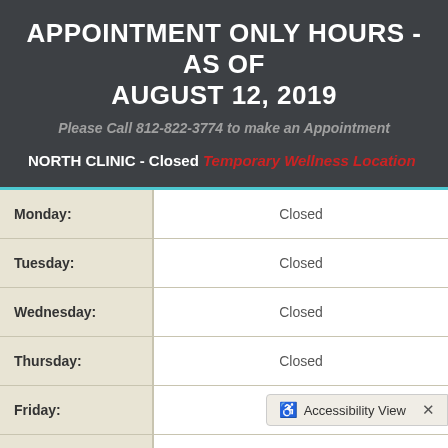APPOINTMENT ONLY HOURS - AS OF AUGUST 12, 2019
Please Call 812-822-3774 to make an Appointment
NORTH CLINIC - Closed Temporary Wellness Location
| Day | Hours |
| --- | --- |
| Monday: | Closed |
| Tuesday: | Closed |
| Wednesday: | Closed |
| Thursday: | Closed |
| Friday: | Closed |
| Saturday: |  |